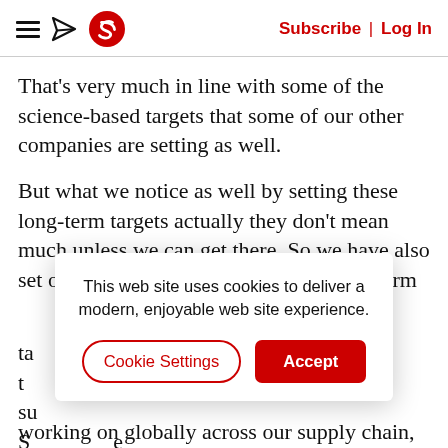Subscribe | Log In
That’s very much in line with some of the science-based targets that some of our other companies are setting as well.
But what we notice as well by setting these long-term targets actually they don’t mean much unless we can get there. So we have also set ourselves some very ambitious short-term targets. So we need to be able to get there and the...
[Figure (screenshot): Cookie consent dialog overlay with message 'This web site uses cookies to deliver a modern, enjoyable web site experience.' and two buttons: 'Cookie Settings' (outlined red) and 'Accept' (solid red).]
working on globally across our supply chain,